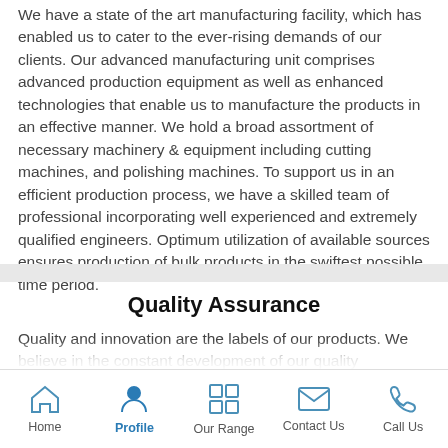We have a state of the art manufacturing facility, which has enabled us to cater to the ever-rising demands of our clients. Our advanced manufacturing unit comprises advanced production equipment as well as enhanced technologies that enable us to manufacture the products in an effective manner. We hold a broad assortment of necessary machinery & equipment including cutting machines, and polishing machines. To support us in an efficient production process, we have a skilled team of professional incorporating well experienced and extremely qualified engineers. Optimum utilization of available sources ensures production of bulk products in the swiftest possible time period.
Quality Assurance
Quality and innovation are the labels of our products. We believe in the constant development of our quality standards in order to
Home | Profile | Our Range | Contact Us | Call Us